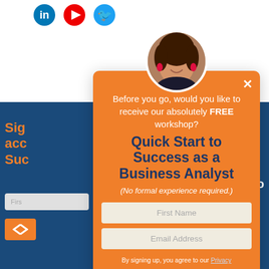[Figure (screenshot): Social media icons (LinkedIn, YouTube, Twitter) in top left area of background page]
[Figure (photo): Profile photo of a woman with curly hair and red earrings, shown in a circular crop at the top of the popup modal]
Before you go, would you like to receive our absolutely FREE workshop?
Quick Start to Success as a Business Analyst
(No formal experience required.)
First Name
Email Address
By signing up, you agree to our Privacy Policy